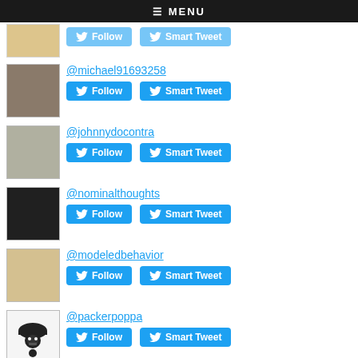≡ MENU
@michael91693258
@johnnydocontra
@nominalthoughts
@modeledbehavior
@packerpoppa
@buffyinnyc
@_credible_hulk